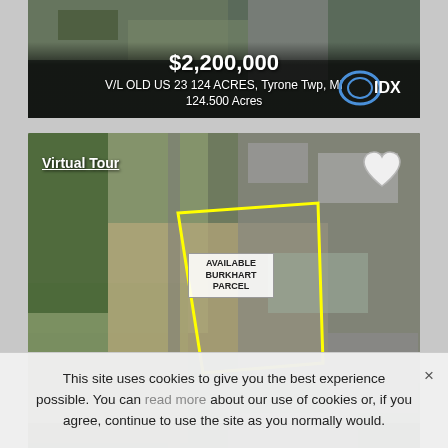[Figure (photo): Partial real estate listing card showing aerial/satellite photo with price $2,200,000, address V/L OLD US 23 124 ACRES Tyrone Twp MI, 124.500 Acres, with IDX logo]
[Figure (photo): Real estate listing card with aerial satellite map showing available Burkhart Parcel outlined in yellow, with Virtual Tour label, heart icon, price $1,975,000, address Burkhart Road Howell Twp MI, 19.750 Acres, IDX logo]
[Figure (photo): Partial real estate listing card at bottom, gray/loading image with heart icon]
This site uses cookies to give you the best experience possible. You can read more about our use of cookies or, if you agree, continue to use the site as you normally would.